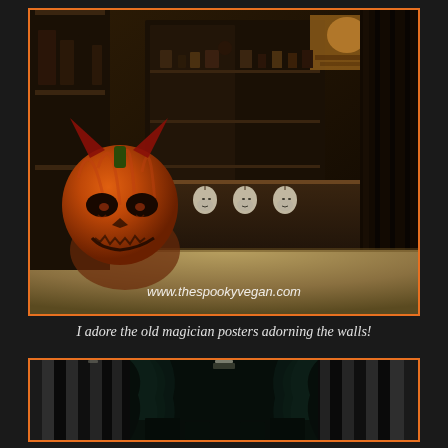[Figure (photo): Interior of a spooky Halloween-themed store with a devil pumpkin creature in the foreground (left), dark wooden cabinets and display cases in the background, old magician posters on walls, skull decorations hanging, and warm sepia/orange toned lighting. Watermark text 'www.thespookyvegan.com' visible at bottom.]
I adore the old magician posters adorning the walls!
[Figure (photo): Dark interior room with black and white vertical striped walls/curtains. There appear to be dark teal/green draped curtains in the center, and some furniture or display items at the bottom. The overall tone is very dark and gothic.]